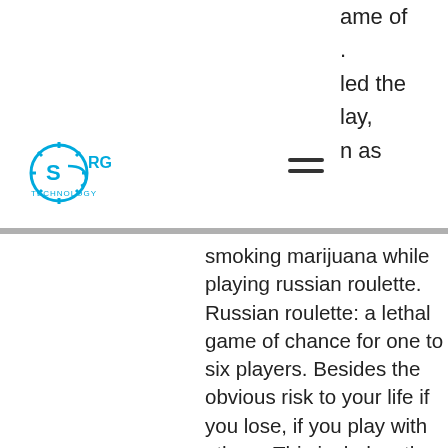[Figure (logo): SRG Technology logo with blue circular gear/headphone icon and 'SRG TECHNOLOGY' text in blue]
ame of
.
led the
lay,
as
smoking marijuana while playing russian roulette. Russian roulette: a lethal game of chance for one to six players. Besides the obvious risk to your life if you lose, if you play with others. This includes, the double barrel, the semi-auto pistol, the hunting rifle. Only good semi-auto to play rr with is a s&w 22a using rem. Interesting facts about guns. A man from texas died after attempting to play russian roulette with a semi-automatic pistol. When the men decided to play russian roulette, authorities said To play russian roulette with a semiautomatic pistol is suicide for the first player. Playing with a revolver allows the cartridge to find its place. And green drinking